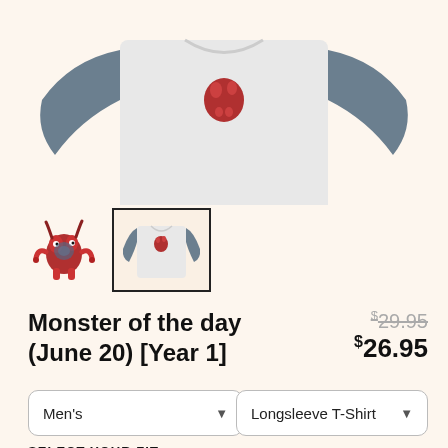[Figure (photo): Product photo of a grey baseball raglan long-sleeve t-shirt with dark grey sleeves and a red monster graphic on the chest, shown against a cream background. Partially cropped at top.]
[Figure (photo): Thumbnail 1: Red cartoon monster character illustration]
[Figure (photo): Thumbnail 2: Selected thumbnail showing the grey/navy raglan t-shirt with highlighted border]
Monster of the day (June 20) [Year 1]
$29.95  $26.95
Men's
Longsleeve T-Shirt
SELECT YOUR FIT